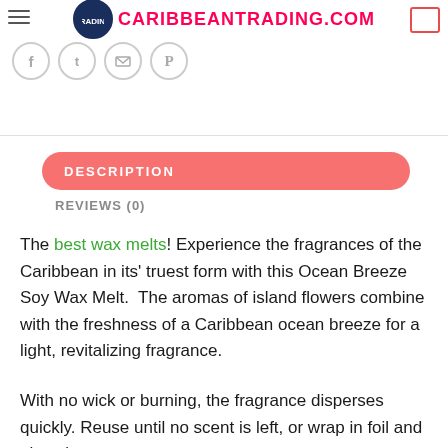CARIBBEANTRADING.COM
[Figure (logo): Caribbean Trading website header with circular navy logo and red CARIBBEANTRADING.COM text, hamburger menu icon on left, cart icon on right]
[Figure (other): Social media icon row: Facebook, Twitter, Email, Pinterest circular grey outline icons]
DESCRIPTION
REVIEWS (0)
The best wax melts! Experience the fragrances of the Caribbean in its' truest form with this Ocean Breeze Soy Wax Melt.  The aromas of island flowers combine with the freshness of a Caribbean ocean breeze for a light, revitalizing fragrance.
With no wick or burning, the fragrance disperses quickly. Reuse until no scent is left, or wrap in foil and place in a